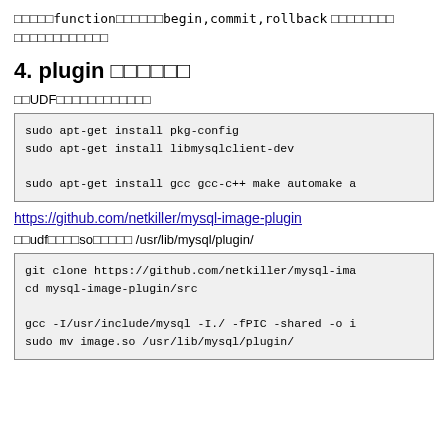□□□□□function□□□□□□begin,commit,rollback □□□□□□□□ □□□□□□□□□□□□
4. plugin □□□□□□
□□UDF□□□□□□□□□□□□
sudo apt-get install pkg-config
sudo apt-get install libmysqlclient-dev

sudo apt-get install gcc gcc-c++ make automake a
https://github.com/netkiller/mysql-image-plugin
□□udf□□□□so□□□□□ /usr/lib/mysql/plugin/
git clone https://github.com/netkiller/mysql-ima
cd mysql-image-plugin/src

gcc -I/usr/include/mysql -I./ -fPIC -shared -o i
sudo mv image.so /usr/lib/mysql/plugin/